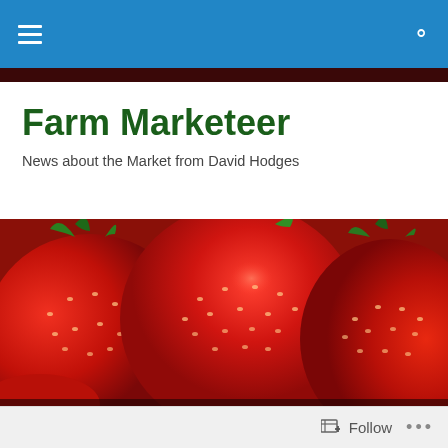Farm Marketeer — navigation bar with hamburger menu and search icon
Farm Marketeer
News about the Market from David Hodges
[Figure (photo): Close-up photograph of fresh red strawberries filling the frame]
Voorhees SAT SEP 14
Follow • • •